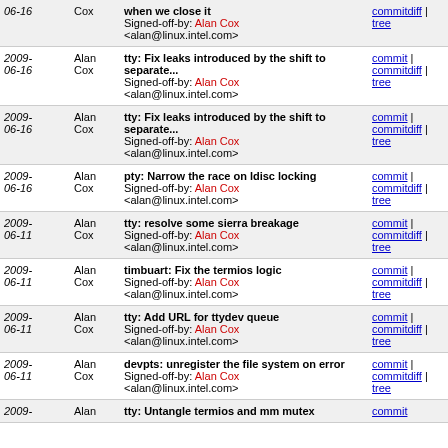| Date | Author | Message | Links |
| --- | --- | --- | --- |
| 06-16 | Cox | when we close it
Signed-off-by: Alan Cox <alan@linux.intel.com> | commitdiff | tree |
| 2009-06-16 | Alan Cox | tty: Fix leaks introduced by the shift to separate...
Signed-off-by: Alan Cox <alan@linux.intel.com> | commit | commitdiff | tree |
| 2009-06-16 | Alan Cox | tty: Fix leaks introduced by the shift to separate...
Signed-off-by: Alan Cox <alan@linux.intel.com> | commit | commitdiff | tree |
| 2009-06-16 | Alan Cox | pty: Narrow the race on ldisc locking
Signed-off-by: Alan Cox <alan@linux.intel.com> | commit | commitdiff | tree |
| 2009-06-11 | Alan Cox | tty: resolve some sierra breakage
Signed-off-by: Alan Cox <alan@linux.intel.com> | commit | commitdiff | tree |
| 2009-06-11 | Alan Cox | timbuart: Fix the termios logic
Signed-off-by: Alan Cox <alan@linux.intel.com> | commit | commitdiff | tree |
| 2009-06-11 | Alan Cox | tty: Add URL for ttydev queue
Signed-off-by: Alan Cox <alan@linux.intel.com> | commit | commitdiff | tree |
| 2009-06-11 | Alan Cox | devpts: unregister the file system on error
Signed-off-by: Alan Cox <alan@linux.intel.com> | commit | commitdiff | tree |
| 2009- | Alan | tty: Untangle termios and mm mutex | commit |